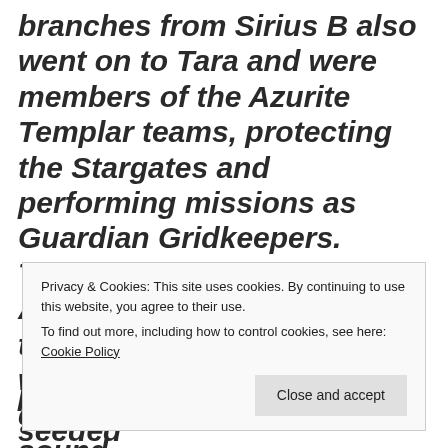branches from Sirius B also went on to Tara and were members of the Azurite Templar teams, protecting the Stargates and performing missions as Guardian Gridkeepers. These first Amethyst Order Azurite forms are known as the Braharama and they were created to repair the damaged time matrix with sound
Privacy & Cookies: This site uses cookies. By continuing to use this website, you agree to their use.
To find out more, including how to control cookies, see here: Cookie Policy
planetary bodies which seeded